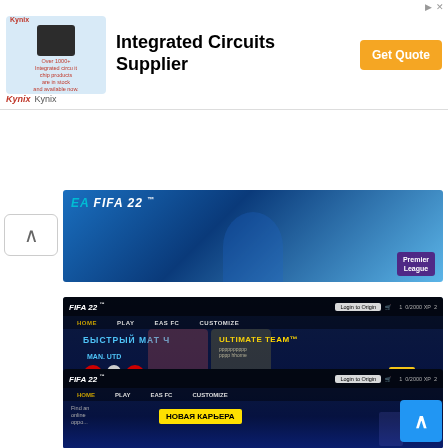[Figure (screenshot): Advertisement banner for Kynix Integrated Circuits Supplier with Get Quote button]
[Figure (screenshot): FIFA 22 game cover screenshot showing Premier League player in blue kit]
[Figure (screenshot): FIFA 22 main menu screenshot showing БЫСТРЫЙ МАТ Ч, MAN UTD vs LIVERPOOL, ULTIMATE TEAM, FUT 22 packs, YetalGame YouTube branding]
[Figure (screenshot): FIFA 22 main menu screenshot showing НОВАЯ КАРЬЕРА option with Mbappe and other players]